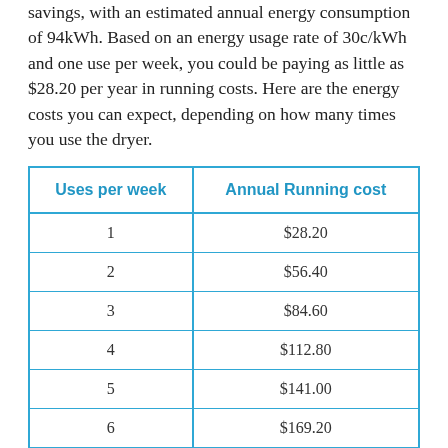savings, with an estimated annual energy consumption of 94kWh. Based on an energy usage rate of 30c/kWh and one use per week, you could be paying as little as $28.20 per year in running costs. Here are the energy costs you can expect, depending on how many times you use the dryer.
| Uses per week | Annual Running cost |
| --- | --- |
| 1 | $28.20 |
| 2 | $56.40 |
| 3 | $84.60 |
| 4 | $112.80 |
| 5 | $141.00 |
| 6 | $169.20 |
| 7 | $197.40 |